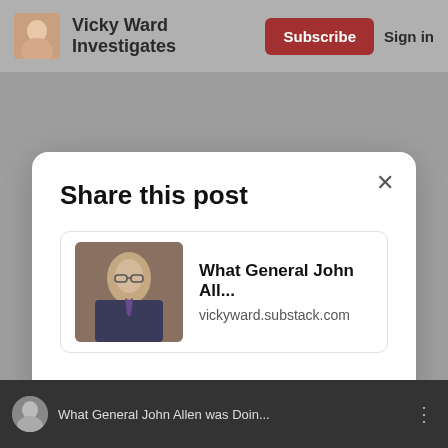Vicky Ward Investigates  Subscribe  Sign in
Share this post
[Figure (screenshot): Link card showing article titled 'What General John All...' with URL vickyward.substack.com and a photo of a man in glasses]
What General John All...
vickyward.substack.com
Copy link
Twitter
Facebook
Email
What General John Allen was Doin...